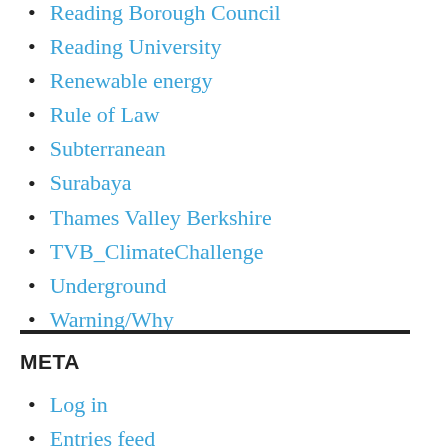Reading Borough Council
Reading University
Renewable energy
Rule of Law
Subterranean
Surabaya
Thames Valley Berkshire
TVB_ClimateChallenge
Underground
Warning/Why
META
Log in
Entries feed